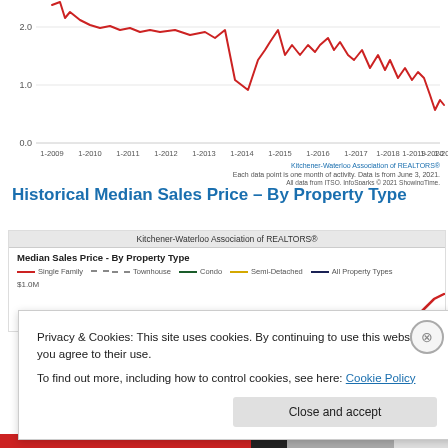[Figure (continuous-plot): Top portion of a line chart showing data from 1-2009 to 1-2021, with y-axis values 0.0, 1.0, 2.0. A red line shows activity, peaking around 2016 and declining toward 2021. Footer text: 'Kitchener-Waterloo Association of REALTORS®', 'Each data point is one month of activity. Data is from June 3, 2021.', 'All data from ITSO. InfoSparks © 2021 ShowingTime.']
Historical Median Sales Price – By Property Type
[Figure (continuous-plot): Partial view of a line chart titled 'Median Sales Price - By Property Type' from Kitchener-Waterloo Association of REALTORS®. Legend shows: Single Family (red), Townhouse (gray), Condo (dark green), Semi-Detached (gold), All Property Types (navy). Y-axis starts at $1.0M. A red line is visible in the upper right corner. Bottom partially cut off.]
Privacy & Cookies: This site uses cookies. By continuing to use this website, you agree to their use. To find out more, including how to control cookies, see here: Cookie Policy